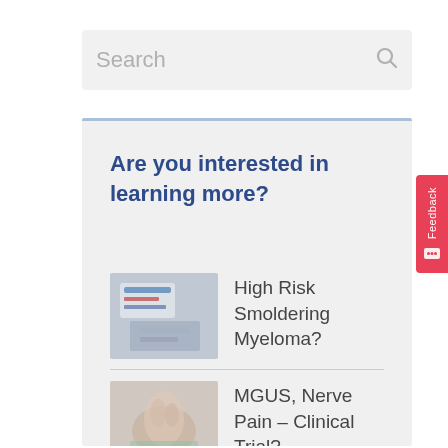Search
Are you interested in learning more?
High Risk Smoldering Myeloma?
[Figure (photo): Thumbnail image related to High Risk Smoldering Myeloma - shows a hand holding cards with medical terms]
MGUS, Nerve Pain – Clinical Trial?
[Figure (photo): Thumbnail image related to MGUS Nerve Pain Clinical Trial - shows a hand or foot]